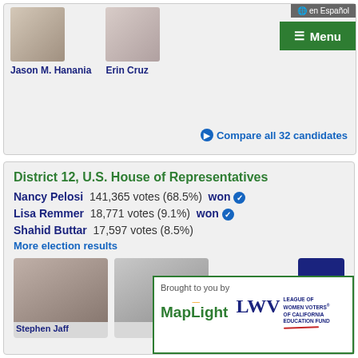Jason M. Hanania
Erin Cruz
en Español
☰ Menu
Compare all 32 candidates
District 12, U.S. House of Representatives
Nancy Pelosi  141,365 votes (68.5%)  won ✓
Lisa Remmer  18,771 votes (9.1%)  won ✓
Shahid Buttar  17,597 votes (8.5%)
More election results
Stephen Jaff
Brought to you by
MapLight
LEAGUE OF WOMEN VOTERS® OF CALIFORNIA EDUCATION FUND